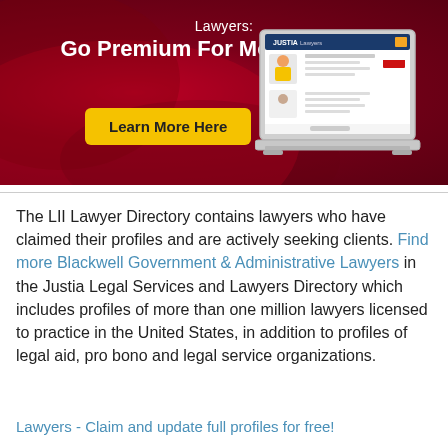[Figure (infographic): Red gradient banner advertisement for Justia Lawyers premium service, showing a laptop with lawyer profile screenshot and a yellow 'Learn More Here' button. Text reads: 'Lawyers: Go Premium For More Visibility']
The LII Lawyer Directory contains lawyers who have claimed their profiles and are actively seeking clients. Find more Blackwell Government & Administrative Lawyers in the Justia Legal Services and Lawyers Directory which includes profiles of more than one million lawyers licensed to practice in the United States, in addition to profiles of legal aid, pro bono and legal service organizations.
Lawyers - Claim and update full profiles for free!